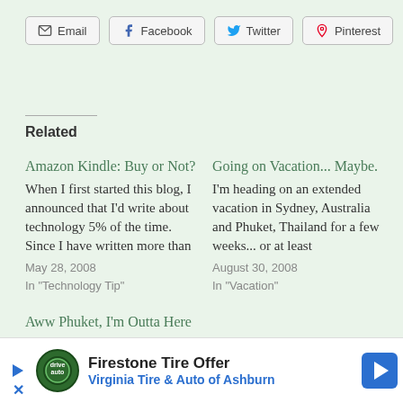Email  Facebook  Twitter  Pinterest
Related
Amazon Kindle: Buy or Not?
When I first started this blog, I announced that I'd write about technology 5% of the time. Since I have written more than
May 28, 2008
In "Technology Tip"
Going on Vacation... Maybe.
I'm heading on an extended vacation in Sydney, Australia and Phuket, Thailand for a few weeks... or at least
August 30, 2008
In "Vacation"
Aww Phuket, I'm Outta Here
There comes a time, where you've just had enough... and I h
[Figure (other): Advertisement banner for Firestone Tire Offer / Virginia Tire & Auto of Ashburn with logo and arrow icon]